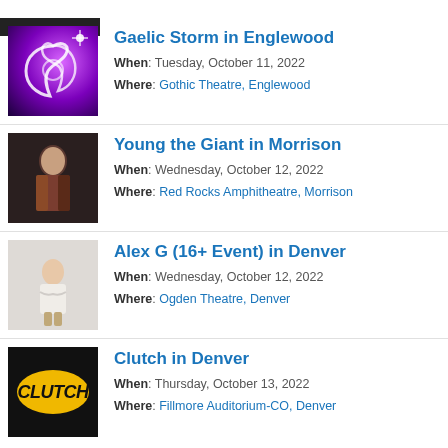[Figure (illustration): Gaelic Storm band logo — swirling Celtic design on purple/violet glowing background with sparkles]
Gaelic Storm in Englewood
When: Tuesday, October 11, 2022
Where: Gothic Theatre, Englewood
[Figure (photo): Young the Giant — portrait of a man in ornate jacket against dark background]
Young the Giant in Morrison
When: Wednesday, October 12, 2022
Where: Red Rocks Amphitheatre, Morrison
[Figure (photo): Alex G — person in white top with arms crossed against light grey background]
Alex G (16+ Event) in Denver
When: Wednesday, October 12, 2022
Where: Ogden Theatre, Denver
[Figure (logo): Clutch band logo — yellow oval with CLUTCH text in bold italic black letters on black background]
Clutch in Denver
When: Thursday, October 13, 2022
Where: Fillmore Auditorium-CO, Denver